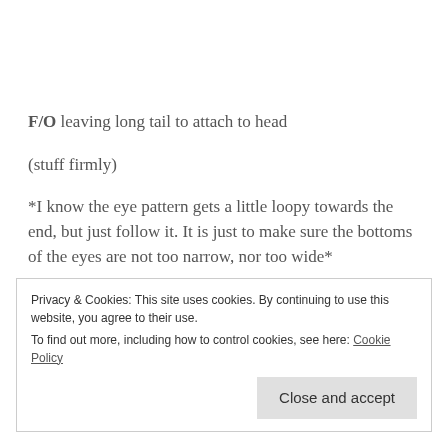F/O leaving long tail to attach to head
(stuff firmly)
*I know the eye pattern gets a little loopy towards the end, but just follow it. It is just to make sure the bottoms of the eyes are not too narrow, nor too wide*
Hands/Arms:
Privacy & Cookies: This site uses cookies. By continuing to use this website, you agree to their use.
To find out more, including how to control cookies, see here: Cookie Policy
Close and accept